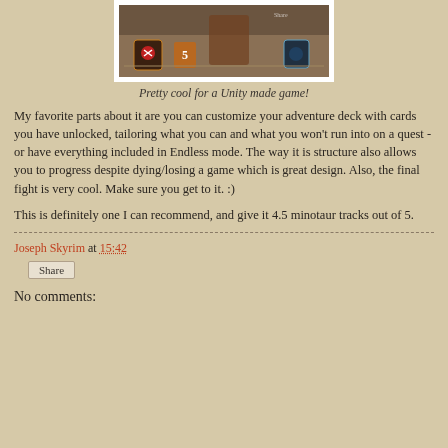[Figure (screenshot): Screenshot of a Unity-made card/adventure game showing a battle scene with cards and characters on a sandy terrain.]
Pretty cool for a Unity made game!
My favorite parts about it are you can customize your adventure deck with cards you have unlocked, tailoring what you can and what you won't run into on a quest - or have everything included in Endless mode. The way it is structure also allows you to progress despite dying/losing a game which is great design. Also, the final fight is very cool. Make sure you get to it. :)
This is definitely one I can recommend, and give it 4.5 minotaur tracks out of 5.
Joseph Skyrim at 15:42
Share
No comments: